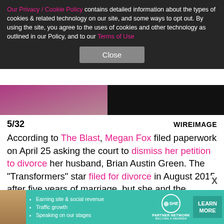Our Privacy / Cookie Policy contains detailed information about the types of cookies & related technology on our site, and some ways to opt out. By using the site, you agree to the uses of cookies and other technology as outlined in our Policy, and to our Terms of Use
Close
[Figure (photo): Photo strip showing partial images of people against dark background]
5/32
WIREIMAGE
According to The Blast, Megan Fox filed paperwork on April 25 asking the court to dismiss her petition to divorce her husband, Brian Austin Green. The "Transformers" star filed for divorce in August 2015 after five years of marriage, but she and the "Beverly Hills, 90210" actor reconciled in 2016 before welcoming their third child together.
[Figure (infographic): SHE Partner Network advertisement banner with photo, bullet points about earning site & social revenue, traffic growth, speaking on our stages, logo, and Learn More button]